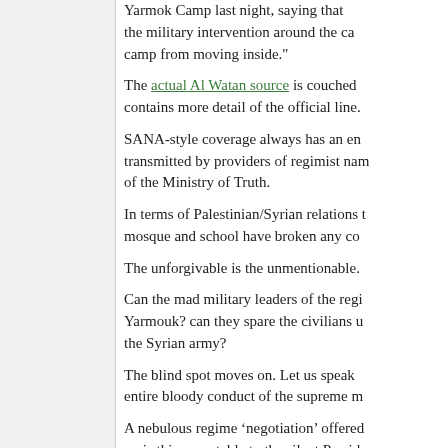Yarmok Camp last night, saying that the military intervention around the camp from moving inside."
The actual Al Watan source is couched contains more detail of the official line.
SANA-style coverage always has an en transmitted by providers of regimist nar of the Ministry of Truth.
In terms of Palestinian/Syrian relations mosque and school have broken any co
The unforgivable is the unmentionable.
Can the mad military leaders of the regi Yarmouk? can they spare the civilians u the Syrian army?
The blind spot moves on. Let us speak entire bloody conduct of the supreme m
A nebulous regime ‘negotiation’ offered — is this acceptable to the silent Presid
I would love to see a dialogue start betw seems to be in hiding, walled in by milita
Better that Shara’a conduct a dialogue w the throne. If he can make that public in by SANA to the stupefied Baathists, and procedural details from the top-dogs an
December 19th, 2012, 8:59 pm